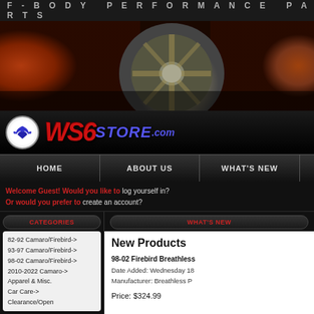F - B O D Y   P E R F O R M A N C E   P A R T S
[Figure (photo): Orange Camaro/Firebird with gold/chrome wheel close-up banner photo]
[Figure (logo): WS6STORE.com logo with eagle emblem, red WS6 italic text and blue STORE.com text]
HOME  ABOUT US  WHAT'S NEW
Welcome Guest! Would you like to log yourself in? Or would you prefer to create an account?
CATEGORIES
WHAT'S NEW
82-92 Camaro/Firebird->
93-97 Camaro/Firebird->
98-02 Camaro/Firebird->
2010-2022 Camaro->
Apparel & Misc.
Car Care->
Clearance/Open
New Products
98-02 Firebird Breathless
Date Added: Wednesday 18
Manufacturer: Breathless P
Price: $324.99
MANUFACTURERS